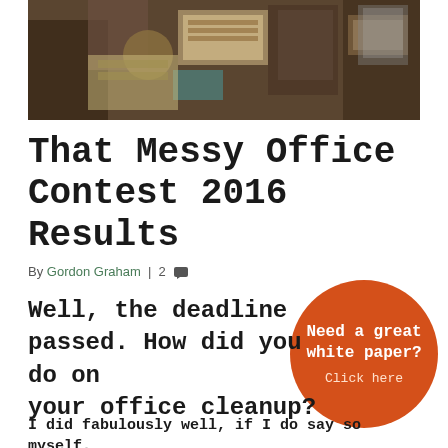[Figure (photo): A cluttered, messy office desk with various items piled up including bags, a globe, papers, electronics, and other office supplies.]
That Messy Office Contest 2016 Results
By Gordon Graham | 2 💬
[Figure (infographic): Orange circle call-to-action button with text: Need a great white paper? Click here]
Well, the deadline passed. How did you do on your office cleanup?
I did fabulously well, if I do say so myself.